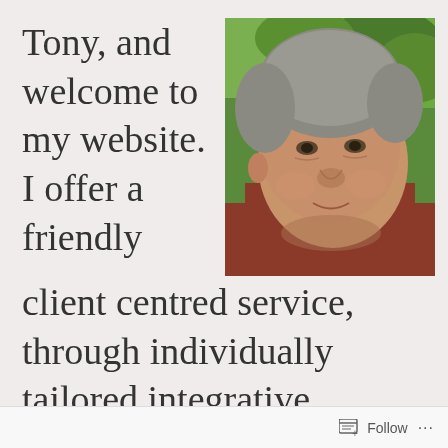Tony, and welcome to my website. I offer a friendly client centred service, through individually tailored integrative counselling and
[Figure (photo): Headshot photo of a middle-aged man with short grey hair wearing a dark red/rust coloured top, smiling slightly, photographed outdoors with green trees in the background.]
Follow ···